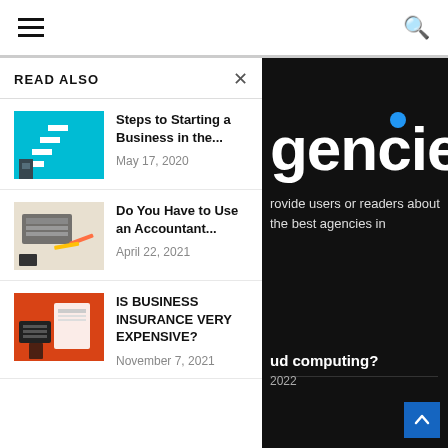Navigation header with hamburger menu and search icon
READ ALSO
[Figure (illustration): Thumbnail image of person walking up stairs on teal background]
Steps to Starting a Business in the...
May 17, 2020
[Figure (illustration): Thumbnail image of calculator and financial papers]
Do You Have to Use an Accountant...
April 22, 2021
[Figure (illustration): Thumbnail image of hands holding calculator on red background]
IS BUSINESS INSURANCE VERY EXPENSIVE?
November 7, 2021
gencies
rovide users or readers about the best agencies in
ud computing?
2022